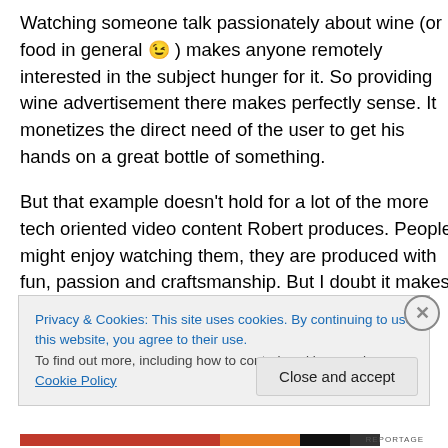Watching someone talk passionately about wine (or food in general 😉 ) makes anyone remotely interested in the subject hunger for it. So providing wine advertisement there makes perfectly sense. It monetizes the direct need of the user to get his hands on a great bottle of something.
But that example doesn't hold for a lot of the more tech oriented video content Robert produces. People might enjoy watching them, they are produced with fun, passion and craftsmanship. But I doubt it makes the user crave for something immediately. Technology makes us gadget
Privacy & Cookies: This site uses cookies. By continuing to use this website, you agree to their use.
To find out more, including how to control cookies, see here: Cookie Policy
Close and accept